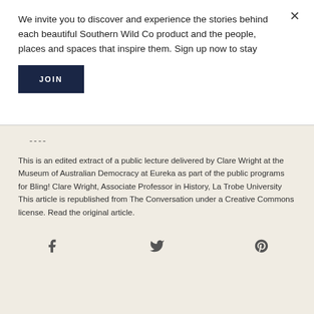We invite you to discover and experience the stories behind each beautiful Southern Wild Co product and the people, places and spaces that inspire them. Sign up now to stay
JOIN
----
This is an edited extract of a public lecture delivered by Clare Wright at the Museum of Australian Democracy at Eureka as part of the public programs for Bling! Clare Wright, Associate Professor in History, La Trobe University This article is republished from The Conversation under a Creative Commons license. Read the original article.
[Figure (other): Three social media icons: Facebook (f), Twitter (bird), Pinterest (P circle)]